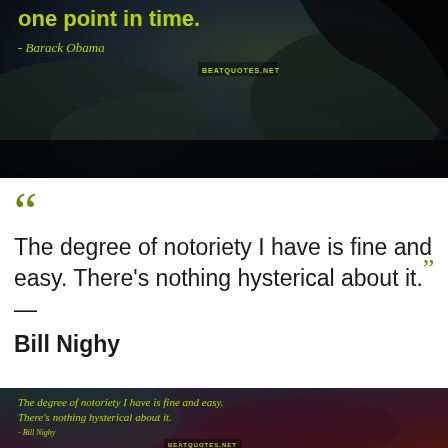[Figure (photo): Dark atmospheric image with mountain/rock silhouette against cloudy sky, partial quote text visible at top in yellow-green: 'one point in time.' with attribution '- Barack Obama' and watermark 'BEATQUOTES.NET']
“The degree of notoriety I have is fine and easy. There's nothing hysterical about it.” — Bill Nighy
[Figure (photo): Dark atmospheric image with abstract smoky background in teal/purple/red tones, containing quote in yellow-green italic text: 'The degree of notoriety I have is fine and easy. There’s nothing hysterical about it.' with attribution '- Bill Nighy' and watermark 'BEATQUOTES.NET']